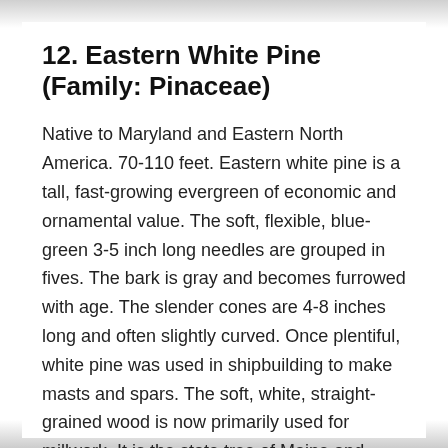12. Eastern White Pine (Family: Pinaceae)
Native to Maryland and Eastern North America. 70-110 feet. Eastern white pine is a tall, fast-growing evergreen of economic and ornamental value. The soft, flexible, blue-green 3-5 inch long needles are grouped in fives. The bark is gray and becomes furrowed with age. The slender cones are 4-8 inches long and often slightly curved. Once plentiful, white pine was used in shipbuilding to make masts and spars. The soft, white, straight-grained wood is now primarily used for millwork. It is the state tree of Maine and Michigan.